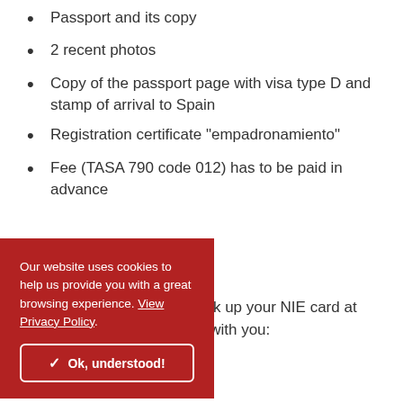Passport and its copy
2 recent photos
Copy of the passport page with visa type D and stamp of arrival to Spain
Registration certificate “empadronamiento”
Fee (TASA 790 code 012) has to be paid in advance
mission of your documents k up your NIE card at the n no prior appointment with you:
Passport
Our website uses cookies to help us provide you with a great browsing experience. View Privacy Policy  Ok, understood!